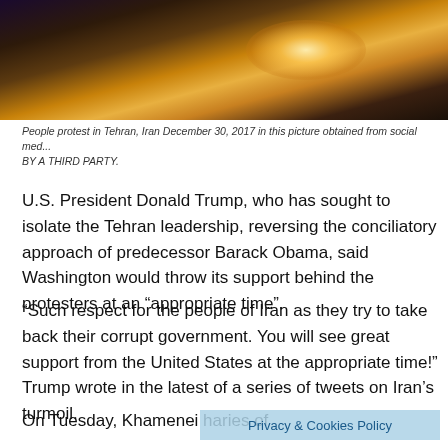[Figure (photo): Night protest scene in Tehran, Iran, with bright light flare visible against a dark road/street background.]
People protest in Tehran, Iran December 30, 2017 in this picture obtained from social med... BY A THIRD PARTY.
U.S. President Donald Trump, who has sought to isolate the Tehran leadership, reversing the conciliatory approach of predecessor Barack Obama, said Washington would throw its support behind the protesters at an “appropriate time”.
“Such respect for the people of Iran as they try to take back their corrupt government. You will see great support from the United States at the appropriate time!” Trump wrote in the latest of a series of tweets on Iran’s turmoil.
On Tuesday, Khamenei ha... aries of